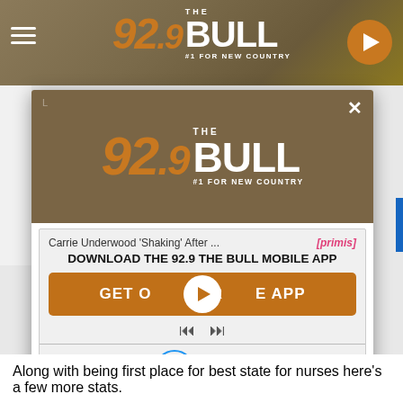[Figure (screenshot): 92.9 The Bull radio station website header with logo and play button]
[Figure (screenshot): Modal popup with 92.9 The Bull logo, mobile app download prompt, video player with play button, and 'Also listen on Amazon Alexa' section]
Along with being first place for best state for nurses here's a few more stats.